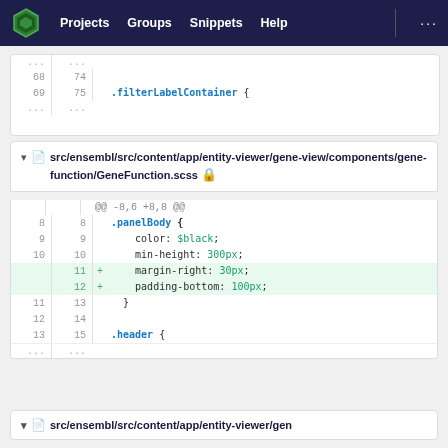Projects  Groups  Snippets  Help  ...
[Figure (screenshot): GitLab code diff panel 1 showing lines 68-69 with .filterLabelContainer {]
src/ensembl/src/content/app/entity-viewer/gene-view/components/gene-function/GeneFunction.scss
[Figure (screenshot): GitLab code diff panel 2 showing GeneFunction.scss diff with added margin-right: 30px and padding-bottom: 100px]
src/ensembl/src/content/app/entity-viewer/gen